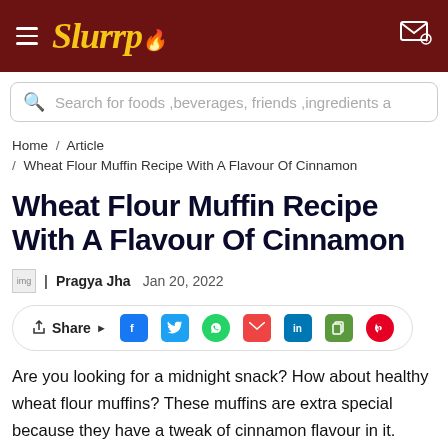Slurrp
Search for foods ,beverages, friends ,ingredients a
Home / Article / Wheat Flour Muffin Recipe With A Flavour Of Cinnamon
Wheat Flour Muffin Recipe With A Flavour Of Cinnamon
Pragya Jha   Jan 20, 2022
Share
Are you looking for a midnight snack? How about healthy wheat flour muffins? These muffins are extra special because they have a tweak of cinnamon flavour in it.